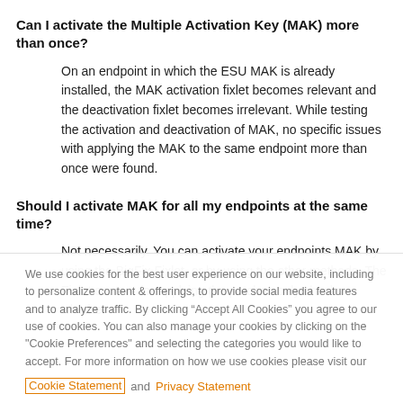Can I activate the Multiple Activation Key (MAK) more than once?
On an endpoint in which the ESU MAK is already installed, the MAK activation fixlet becomes relevant and the deactivation fixlet becomes irrelevant. While testing the activation and deactivation of MAK, no specific issues with applying the MAK to the same endpoint more than once were found.
Should I activate MAK for all my endpoints at the same time?
Not necessarily. You can activate your endpoints MAK by using the BigFix Fixlet, or by using the other methods. The Fixlet content for applying the patches only checks whether
We use cookies for the best user experience on our website, including to personalize content & offerings, to provide social media features and to analyze traffic. By clicking “Accept All Cookies” you agree to our use of cookies. You can also manage your cookies by clicking on the "Cookie Preferences" and selecting the categories you would like to accept. For more information on how we use cookies please visit our Cookie Statement and Privacy Statement